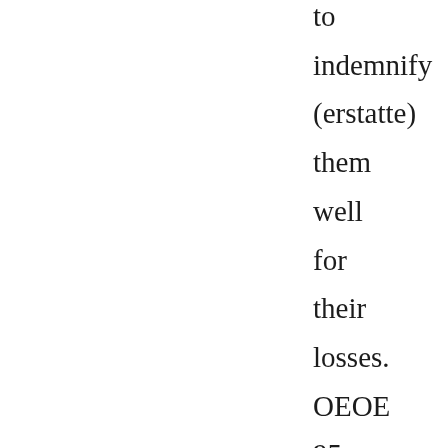to indemnify (erstatte) them well for their losses. OEOE 95 then sent two of his brothers to the neighboring country, Spain